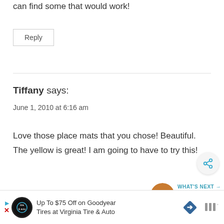can find some that would work!
Reply
Tiffany says:
June 1, 2010 at 6:16 am
Love those place mats that you chose! Beautiful. The yellow is great! I am going to have to try this!
Reply
[Figure (infographic): Share button icon (circular button with share symbol)]
[Figure (infographic): What's Next panel: food image thumbnail, label 'WHAT'S NEXT', title 'One Pot Meals and Easy...']
[Figure (infographic): Advertisement banner: Up To $75 Off on Goodyear Tires at Virginia Tire & Auto, with logos]